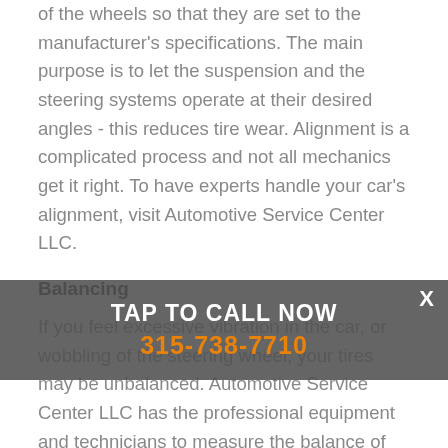of the wheels so that they are set to the manufacturer's specifications. The main purpose is to let the suspension and the steering systems operate at their desired angles - this reduces tire wear. Alignment is a complicated process and not all mechanics get it right. To have experts handle your car's alignment, visit Automotive Service Center LLC.
Balancing
If you feel excessive vibration in the car, or wobbling of the steering wheel, your tires may be unbalanced. Automotive Service Center LLC has the professional equipment and technicians to measure the balance of your vehicle's tires and make necessary corrections. Call us at 315-738-7710 if
[Figure (infographic): Overlay banner with 'TAP TO CALL NOW' text and phone number '315-738-7710' in orange, with a close X button in top right]